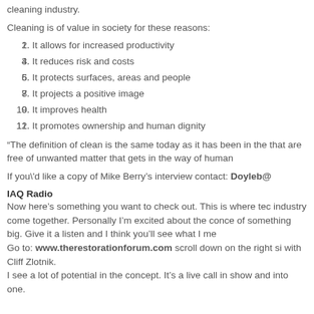cleaning industry.
Cleaning is of value in society for these reasons:
It allows for increased productivity
It reduces risk and costs
It protects surfaces, areas and people
It projects a positive image
It improves health
It promotes ownership and human dignity
“The definition of clean is the same today as it has been in the that are free of unwanted matter that gets in the way of human
If you\'d like a copy of Mike Berry’s interview contact: Doyleb@
IAQ Radio
Now here’s something you want to check out. This is where tec industry come together. Personally I’m excited about the conce of something big. Give it a listen and I think you’ll see what I me Go to: www.therestorationforum.com scroll down on the right si with Cliff Zlotnik.
I see a lot of potential in the concept. It’s a live call in show and into one.